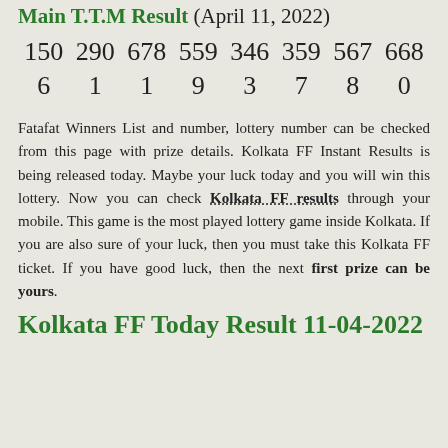Main T.T.M Result (April 11, 2022)
| 150 | 290 | 678 | 559 | 346 | 359 | 567 | 668 |
| 6 | 1 | 1 | 9 | 3 | 7 | 8 | 0 |
Fatafat Winners List and number, lottery number can be checked from this page with prize details. Kolkata FF Instant Results is being released today. Maybe your luck today and you will win this lottery. Now you can check Kolkata FF results through your mobile. This game is the most played lottery game inside Kolkata. If you are also sure of your luck, then you must take this Kolkata FF ticket. If you have good luck, then the next first prize can be yours.
Kolkata FF Today Result 11-04-2022